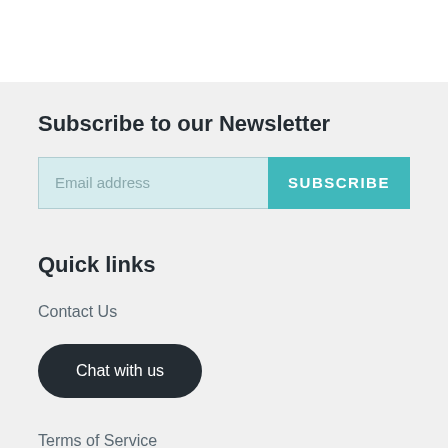Subscribe to our Newsletter
Email address
SUBSCRIBE
Quick links
Contact Us
Chat with us
Terms of Service